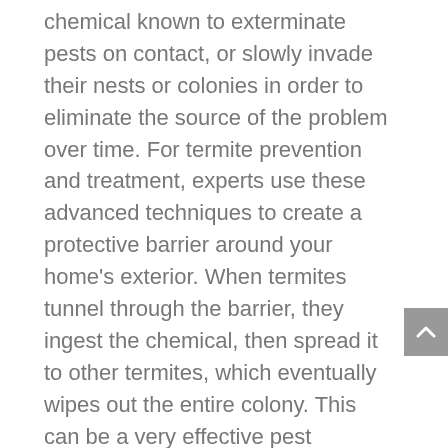chemical known to exterminate pests on contact, or slowly invade their nests or colonies in order to eliminate the source of the problem over time. For termite prevention and treatment, experts use these advanced techniques to create a protective barrier around your home's exterior. When termites tunnel through the barrier, they ingest the chemical, then spread it to other termites, which eventually wipes out the entire colony. This can be a very effective pest elimination system for your Elm Grove, WI home. Baiting systems work by placing stations filled with a pest's favorite foods in the ground around your home. Once pest activity is detected, the stations are laced with chemicals that eliminate nests and colonies over time. This, too, is an effective pest control system used by experts. If you're worried about the safety of termite treatment and pest control solutions for